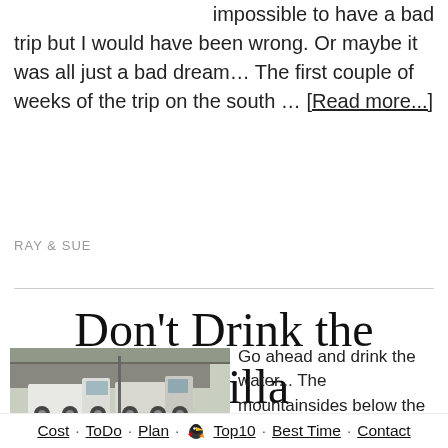impossible to have a bad trip but I would have been wrong. Or maybe it was all just a bad dream… The first couple of weeks of the trip on the south … [Read more...]
RAY & SUE
Don't Drink the Natilla
[Figure (photo): Trucks parked near a covered structure, outdoor setting]
Go ahead and drink the water... The mountainsides below the continental divide north of
Cost · ToDo · Plan · Top10 · Best Time · Contact